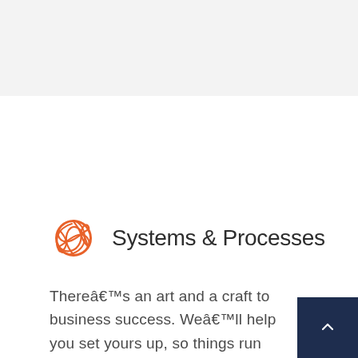[Figure (other): Gray background header area at top of page]
Systems & Processes
Thereâs an art and a craft to business success. Weâll help you set yours up, so things run like clockwork.